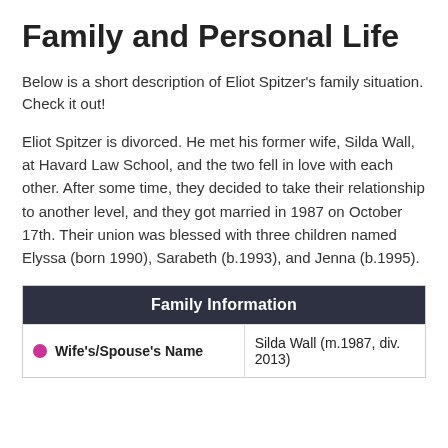Family and Personal Life
Below is a short description of Eliot Spitzer's family situation. Check it out!
Eliot Spitzer is divorced. He met his former wife, Silda Wall, at Havard Law School, and the two fell in love with each other. After some time, they decided to take their relationship to another level, and they got married in 1987 on October 17th. Their union was blessed with three children named Elyssa (born 1990), Sarabeth (b.1993), and Jenna (b.1995).
| Family Information |
| --- |
| Wife's/Spouse's Name | Silda Wall (m.1987, div. 2013) |